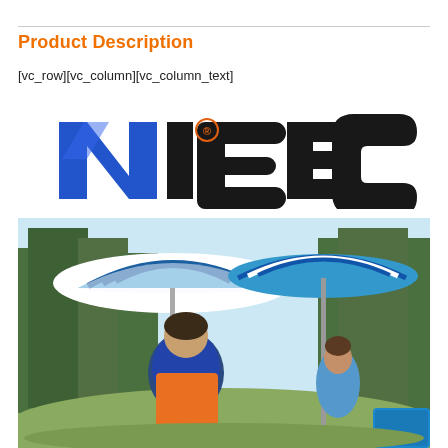Product Description
[vc_row][vc_column][vc_column_text]
[Figure (logo): NiceC brand logo with blue stylized N and black ICEC lettering with registered trademark symbol]
[Figure (photo): Two people sitting in outdoor camping chairs under blue and white striped beach umbrellas surrounded by pine trees]